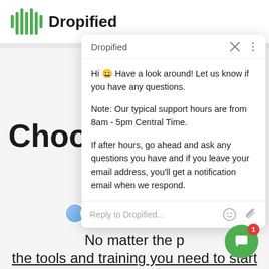[Figure (screenshot): Dropified website logo in navigation bar with green sound-wave icon and bold Dropified text]
[Figure (screenshot): Chat widget popup from Dropified with header showing 'Dropified', close X and menu dots icons, chat messages, and reply input field]
Hi 😀 Have a look around! Let us know if you have any questions.
Note: Our typical support hours are from 8am - 5pm Central Time.
If after hours, go ahead and ask any questions you have and if you leave your email address, you'll get a notification email when we respond.
Choose Y
No matter the p the tools and training you need to start building and automating your e-comm business.
[Figure (illustration): Green circular chat FAB button with red badge showing number 1]